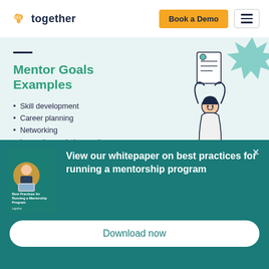together — Book a Demo
Mentor Goals Examples
Skill development
Career planning
Networking
Learn the workplace culture
Gain visibility for potential promotions
Problem-solving skills
[Figure (illustration): Person holding up a certificate/document, standing in front of teal starburst decorations]
View our whitepaper on best practices for running a mentorship program
Download now